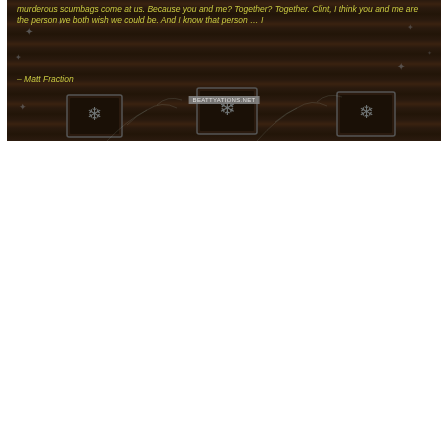[Figure (illustration): Dark wood-textured background with a quote in yellow-green italic text, a website watermark, and snowflake/winter decorations with three small framed images at the bottom.]
murderous scumbags come at us. Because you and me? Together? Together. Clint, I think you and me are the person we both wish we could be. And I know that person … I
– Matt Fraction